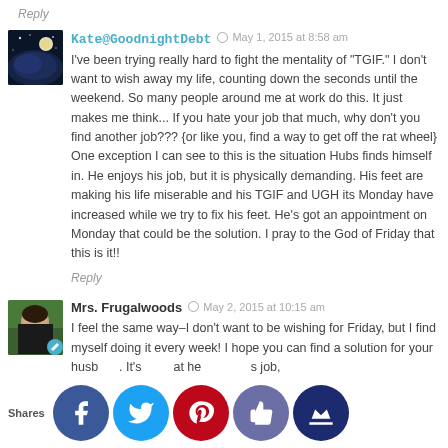Reply
Kate@GoodnightDebt  May 1, 2015 at 8:58 am
I've been trying really hard to fight the mentality of "TGIF." I don't want to wish away my life, counting down the seconds until the weekend. So many people around me at work do this. It just makes me think... If you hate your job that much, why don't you find another job??? {or like you, find a way to get off the rat wheel} One exception I can see to this is the situation Hubs finds himself in. He enjoys his job, but it is physically demanding. His feet are making his life miserable and his TGIF and UGH its Monday have increased while we try to fix his feet. He's got an appointment on Monday that could be the solution. I pray to the God of Friday that this is it!!
Reply
Mrs. Frugalwoods  May 2, 2015 at 10:15 am
I feel the same way–I don't want to be wishing for Friday, but I find myself doing it every week! I hope you can find a solution for your husband. It's great that he enjoys his job, maybe he can free himself from the pain. Good